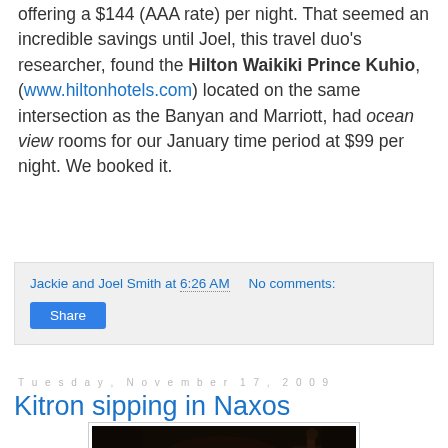offering a $144 (AAA rate) per night. That seemed an incredible savings until Joel, this travel duo's researcher, found the Hilton Waikiki Prince Kuhio, (www.hiltonhotels.com) located on the same intersection as the Banyan and Marriott, had ocean view rooms for our January time period at $99 per night. We booked it.
Jackie and Joel Smith at 6:26 AM   No comments:
Share
Tuesday, November 17, 2009
Kitron sipping in Naxos
[Figure (photo): Photo of two cocktail glasses on a dark table — a wide coupe with a yellow/orange drink and a martini glass with amber liquid, dark bar setting in background]